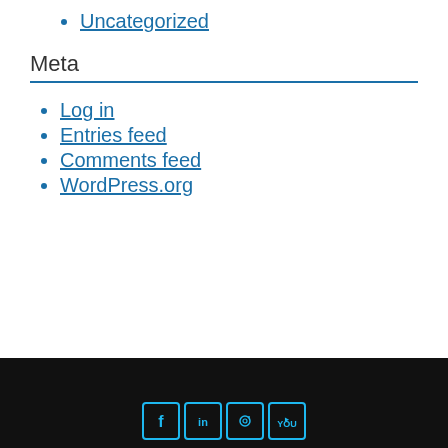Uncategorized
Meta
Log in
Entries feed
Comments feed
WordPress.org
Social icons: Facebook, LinkedIn, Instagram, YouTube